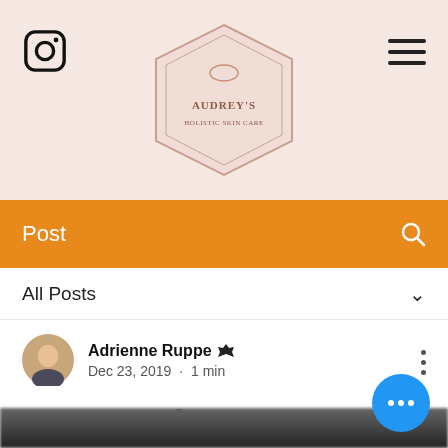Audrey's Holistic Skin Care – header with Instagram icon, logo, hamburger menu
Post
All Posts
Adrienne Ruppe  Admin
Dec 23, 2019 · 1 min
DIY Masks You Must Try at Home!